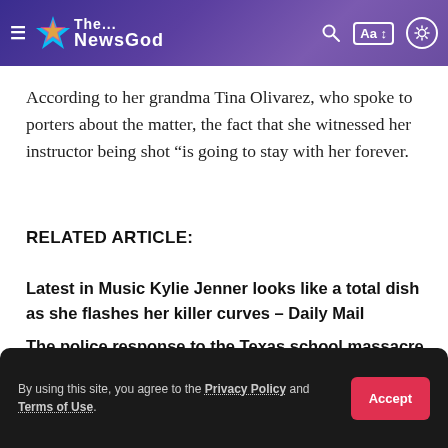The NewsGod
According to her grandma Tina Olivarez, who spoke to porters about the matter, the fact that she witnessed her instructor being shot “is going to stay with her forever.
RELATED ARTICLE:
Latest in Music Kylie Jenner looks like a total dish as she flashes her killer curves – Daily Mail
The police response to the Texas school massacre and Salvador Ramos’ “evil” disposition has been revealed.
“A lot of unsolved questions,” said investigators in the Texas school
By using this site, you agree to the Privacy Policy and Terms of Use.